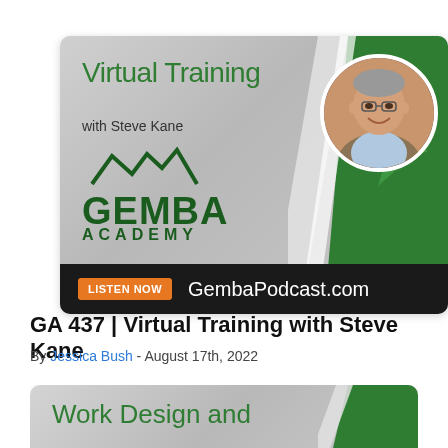[Figure (illustration): Gemba Academy podcast card for 'Virtual Training with Steve Kane'. Shows Gemba Academy logo with mountain peaks, green chevron design elements, circular headshot of Steve Kane, orange 'LISTEN NOW' button, and 'GembaPodcast.com' text on black bar at bottom.]
GA 437 | Virtual Training with Steve Kane
By Jessica Bush - August 17th, 2022
[Figure (illustration): Partial view of second Gemba Academy podcast card showing 'Work Design and' text in green, with similar grey gradient and green chevron design.]